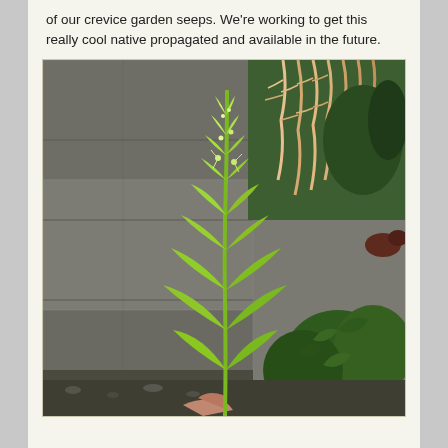of our crevice garden seeps. We're working to get this really cool native propagated and available in the future.
[Figure (photo): A tall green plant with bright lime-green leaves and small flowers on a spike, growing in front of a rough stone wall. In the upper right, pink-tipped feathery plant fronds hang down. At the lower right, dark green leafy plants are visible. A hand is partially visible at the bottom of the image.]